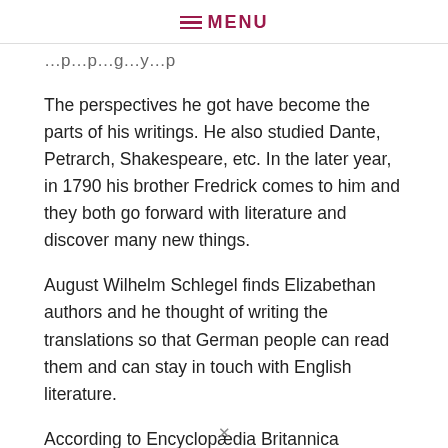≡ MENU
…p…g…y…p
The perspectives he got have become the parts of his writings. He also studied Dante, Petrarch, Shakespeare, etc. In the later year, in 1790 his brother Fredrick comes to him and they both go forward with literature and discover many new things.
August Wilhelm Schlegel finds Elizabethan authors and he thought of writing the translations so that German people can read them and can stay in touch with English literature.
According to Encyclopædia Britannica Eleventh Edition…